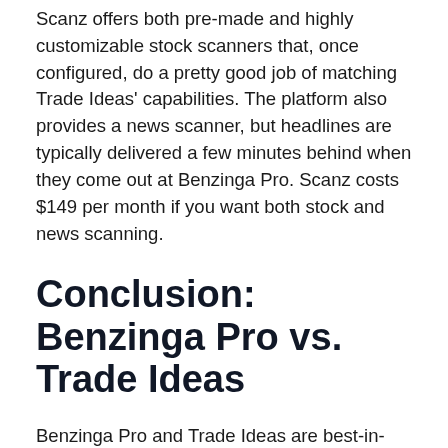Scanz offers both pre-made and highly customizable stock scanners that, once configured, do a pretty good job of matching Trade Ideas' capabilities. The platform also provides a news scanner, but headlines are typically delivered a few minutes behind when they come out at Benzinga Pro. Scanz costs $149 per month if you want both stock and news scanning.
Conclusion: Benzinga Pro vs. Trade Ideas
Benzinga Pro and Trade Ideas are best-in-breed platforms for market news and